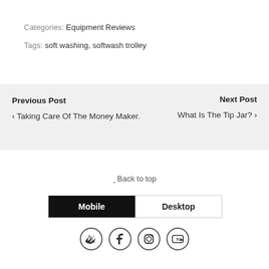Categories: Equipment Reviews
Tags: soft washing, softwash trolley
Previous Post
‹ Taking Care Of The Money Maker.
Next Post
What Is The Tip Jar? ›
⇧ Back to top
Mobile | Desktop
[Figure (other): Social media icons: Twitter, Facebook, Instagram, YouTube]